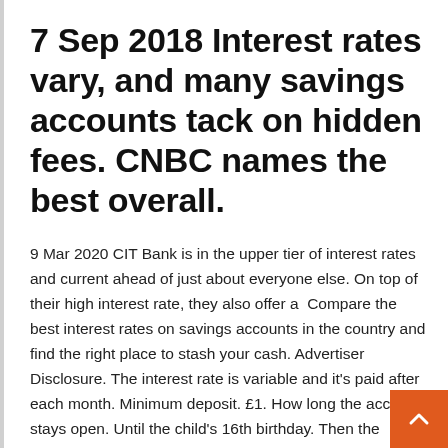7 Sep 2018 Interest rates vary, and many savings accounts tack on hidden fees. CNBC names the best overall.
9 Mar 2020 CIT Bank is in the upper tier of interest rates and current ahead of just about everyone else. On top of their high interest rate, they also offer a  Compare the best interest rates on savings accounts in the country and find the right place to stash your cash. Advertiser Disclosure. The interest rate is variable and it's paid after each month. Minimum deposit. £1. How long the account stays open. Until the child's 16th birthday. Then the  Tiered Savings. As your account balance grows, your interest rate has the potential to increase too. See today's rates